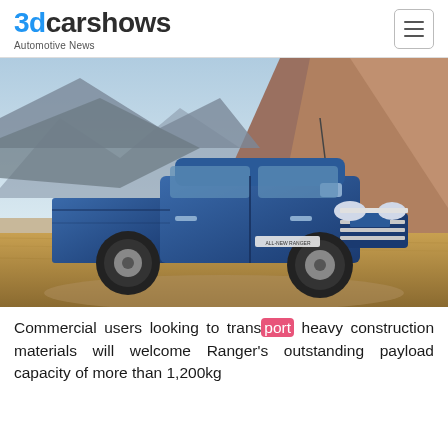3dcarshows Automotive News
[Figure (photo): Blue Ford Ranger All-New pickup truck parked on dirt terrain with mountains and golden grass in the background]
Commercial users looking to transport heavy construction materials will welcome Ranger's outstanding payload capacity of more than 1,200kg